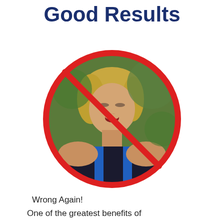Good Results
[Figure (illustration): A circular photo of a young male runner with his head tilted back and eyes closed, appearing exhausted, wearing a black and blue athletic tank top with a green blurred background. Over the circular photo is a red prohibition circle-and-diagonal-line symbol (no symbol), indicating the behavior shown is wrong.]
Wrong Again!
One of the greatest benefits of